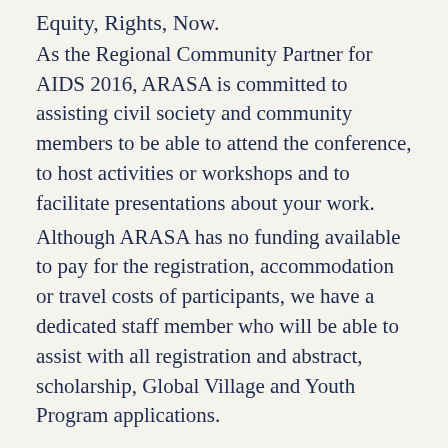Equity, Rights, Now.
As the Regional Community Partner for AIDS 2016, ARASA is committed to assisting civil society and community members to be able to attend the conference, to host activities or workshops and to facilitate presentations about your work.
Although ARASA has no funding available to pay for the registration, accommodation or travel costs of participants, we have a dedicated staff member who will be able to assist with all registration and abstract, scholarship, Global Village and Youth Program applications.